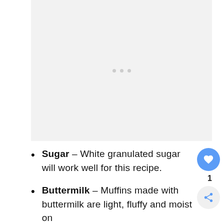[Figure (other): Image placeholder with light gray background and three small gray dots in the center, indicating an image loading state.]
Sugar – White granulated sugar will work well for this recipe.
Buttermilk – Muffins made with buttermilk are light, fluffy and moist on